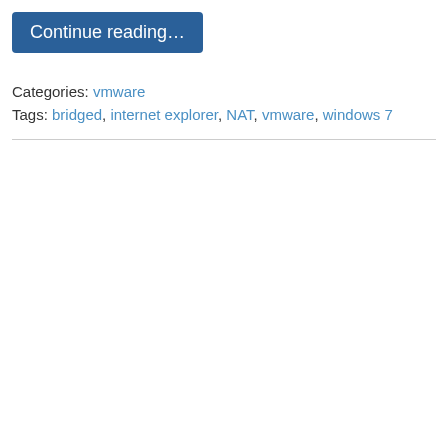Continue reading…
Categories: vmware
Tags: bridged, internet explorer, NAT, vmware, windows 7